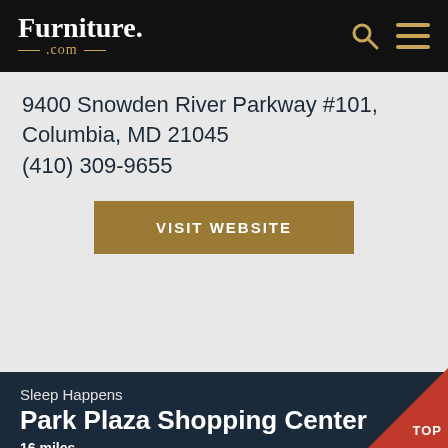Furniture.com
9400 Snowden River Parkway #101, Columbia, MD 21045
(410) 309-9655
VISIT WEBSITE
Sleep Happens
Park Plaza Shopping Center
16 miles
574 Ritchie Highway, Severna Park, MD 21146
(410) 544-5570